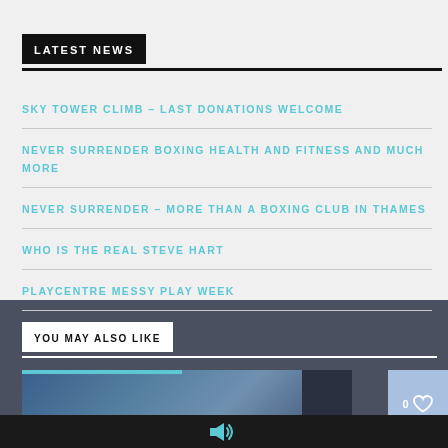LATEST NEWS
SKY TOWER CLIMB – LAST DONATIONS WELCOME
NEVER SURRENDER BOXING HEALTH AND FITNESS AND MUCH MORE
NEVER SURRENDER – MORE THAN A BOXING CLUB IN THAMES
WHO IS THE REAL STEVE HART
PLAYCENTRE MESSY PLAY WEEK
YOU MAY ALSO LIKE
[Figure (photo): Charity/Causes article thumbnail with blue toned image]
CHARITY / CAUSES